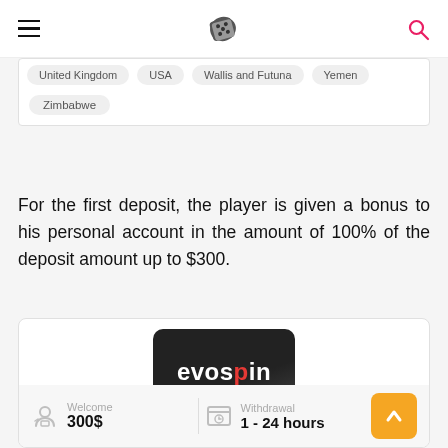Navigation bar with hamburger menu, dice logo, and search icon
United Kingdom  USA  Wallis and Futuna  Yemen
Zimbabwe
For the first deposit, the player is given a bonus to his personal account in the amount of 100% of the deposit amount up to $300.
[Figure (logo): Evospin Casino card with logo, score 83/100, 4-star rating, Welcome 300$, Withdrawal 1-24 hours]